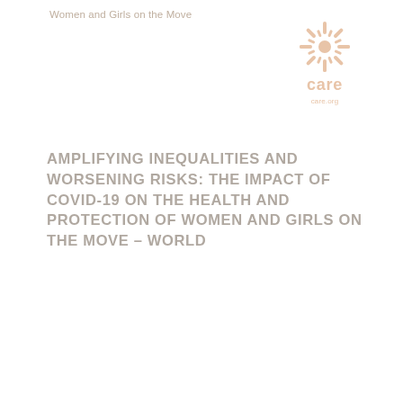Women and Girls on the Move
[Figure (logo): CARE organization logo: circular sunburst/snowflake design in light peach/salmon color above the word 'care' in bold and 'care.org' below]
AMPLIFYING INEQUALITIES AND WORSENING RISKS: THE IMPACT OF COVID-19 ON THE HEALTH AND PROTECTION OF WOMEN AND GIRLS ON THE MOVE – WORLD